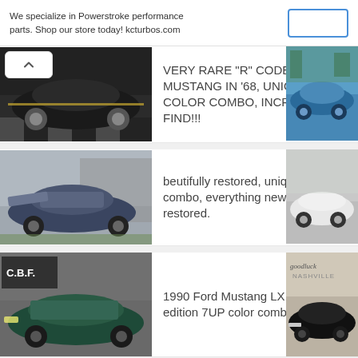We specialize in Powerstroke performance parts. Shop our store today! kcturbos.com
VERY RARE "R" CODE, TOP MUSTANG IN '68, UNIQUE COLOR COMBO, INCREDIBLE FIND!!!
beutifully restored, unique color combo, everything new or restored.
1990 Ford Mustang LX V8 Limited edition 7UP color combo